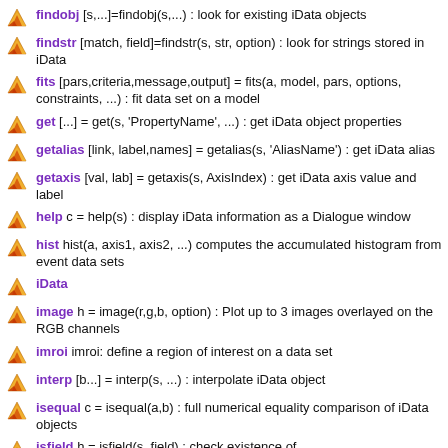findobj [s,...]=findobj(s,...) : look for existing iData objects
findstr [match, field]=findstr(s, str, option) : look for strings stored in iData
fits [pars,criteria,message,output] = fits(a, model, pars, options, constraints, ...) : fit data set on a model
get [...] = get(s, 'PropertyName', ...) : get iData object properties
getalias [link, label,names] = getalias(s, 'AliasName') : get iData alias
getaxis [val, lab] = getaxis(s, AxisIndex) : get iData axis value and label
help c = help(s) : display iData information as a Dialogue window
hist hist(a, axis1, axis2, ...) computes the accumulated histogram from event data sets
iData
image h = image(r,g,b, option) : Plot up to 3 images overlayed on the RGB channels
imroi imroi: define a region of interest on a data set
interp [b...] = interp(s, ...) : interpolate iData object
isequal c = isequal(a,b) : full numerical equality comparison of iData objects
isfield h = isfield(s, field) : check existence of